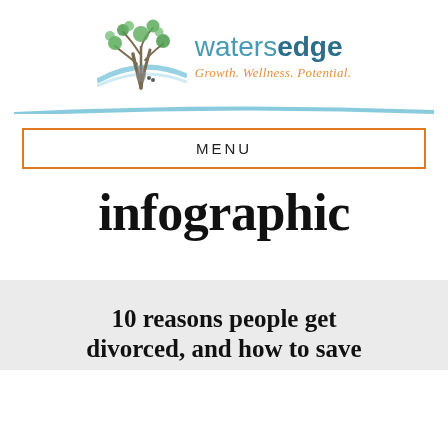[Figure (logo): Watersedge logo with tree illustration and tagline 'Growth. Wellness. Potential.']
MENU
infographic
10 reasons people get divorced, and how to save